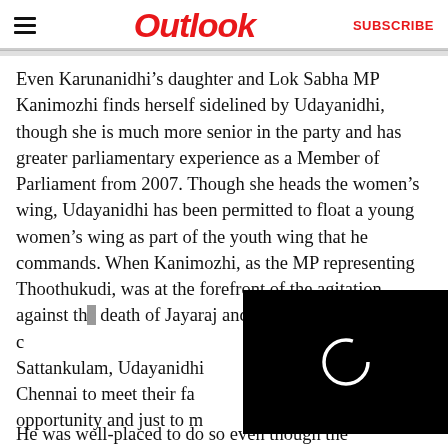Outlook | SUBSCRIBE
Even Karunanidhi’s daughter and Lok Sabha MP Kanimozhi finds herself sidelined by Udayanidhi, though she is much more senior in the party and has greater parliamentary experience as a Member of Parliament from 2007. Though she heads the women’s wing, Udayanidhi has been permitted to float a young women’s wing as part of the youth wing that he commands. When Kanimozhi, as the MP representing Thoothukudi, was at the forefront of the agitation against the death of Jayaraj and his son Bennicks in the custody of police in Sattankulam, Udayanidhi rushed from Chennai to meet their family, seizing the opportunity and just to make a mark.
[Figure (screenshot): Black video player overlay with circular loading spinner in white]
He was well-placed to do so even though the ...